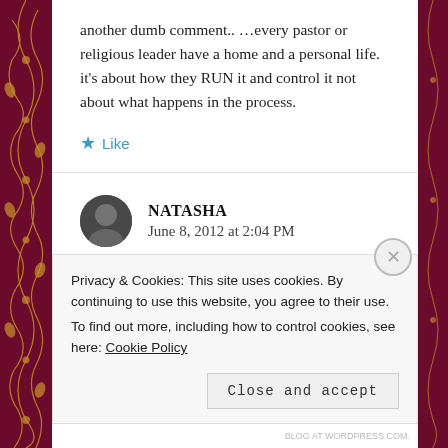another dumb comment.. ...every pastor or religious leader have a home and a personal life. it's about how they RUN it and control it not about what happens in the process.
★ Like
NATASHA
June 8, 2012 at 2:04 PM
Privacy & Cookies: This site uses cookies. By continuing to use this website, you agree to their use.
To find out more, including how to control cookies, see here: Cookie Policy
Close and accept